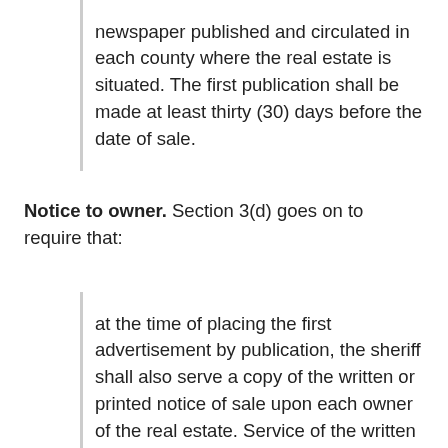newspaper published and circulated in each county where the real estate is situated. The first publication shall be made at least thirty (30) days before the date of sale.
Notice to owner. Section 3(d) goes on to require that:
at the time of placing the first advertisement by publication, the sheriff shall also serve a copy of the written or printed notice of sale upon each owner of the real estate. Service of the written notice shall be made as provided in the Indiana Rules of Trial Procedure governing service of process upon a person.